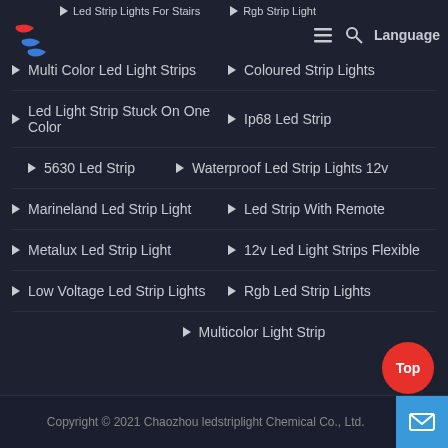Led Strip Lights For Stairs | Rgb Strip Light
[Figure (logo): Company logo with stylized S in red and blue]
Multi Color Led Light Strips
Coloured Strip Lights
Led Light Strip Stuck On One Color
Ip68 Led Strip
5630 Led Strip
Waterproof Led Strip Lights 12v
Marineland Led Strip Light
Led Strip With Remote
Metalux Led Strip Light
12v Led Light Strips Flexible
Low Voltage Led Strip Lights
Rgb Led Strip Lights
Multicolor Light Strip
Copyright © 2021 Chaozhou ledstriplight Chemical Co., Ltd.